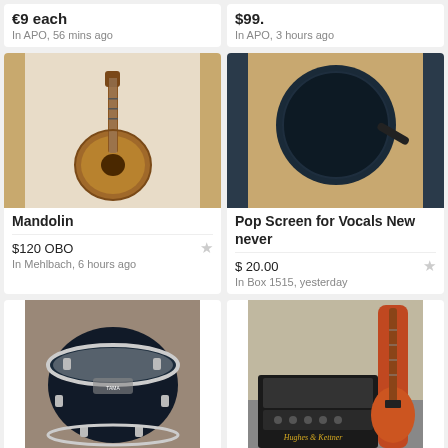€9 each
In APO, 56 mins ago
$99.
In APO, 3 hours ago
[Figure (photo): A mandolin instrument with wooden body on white background]
Mandolin
$120 OBO
In Mehlbach, 6 hours ago
[Figure (photo): A circular black pop screen/filter for microphone/vocals on wooden table]
Pop Screen for Vocals New never
$ 20.00
In Box 1515, yesterday
[Figure (photo): A black drum tom with chrome hardware on marble surface]
[Figure (photo): A Hughes & Kettner guitar amplifier with an orange electric guitar]